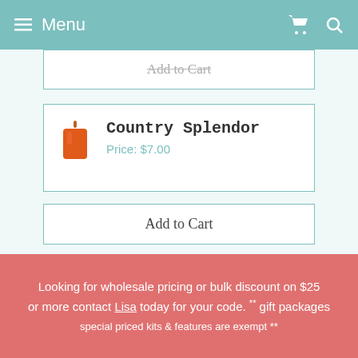Menu
Add to Cart
Country Splendor
Price: $7.00
Add to Cart
Daydreams
Price: $7.00
Looking for wholesale pricing or bulk discount on $25 or more contact Lisa today for your code. ** gift packages special priced kits & features are exempt **